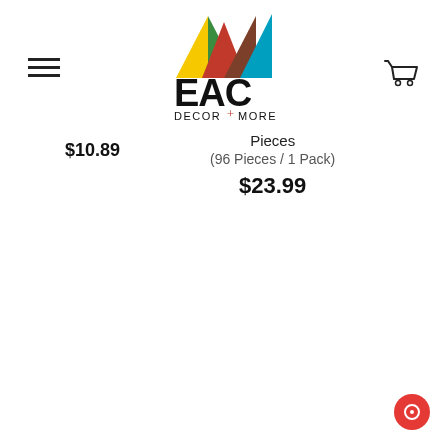[Figure (logo): EAC Decor + More logo with colorful geometric triangles above the text EAC DECOR + MORE]
$10.89
Pieces
(96 Pieces / 1 Pack)
$23.99